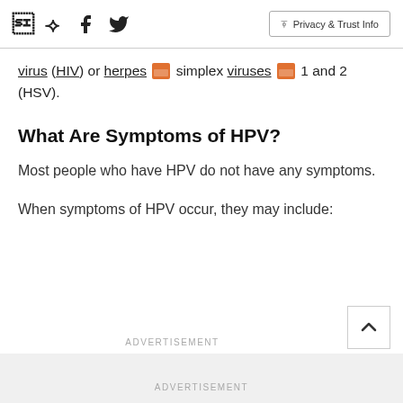Facebook Twitter | Privacy & Trust Info
virus (HIV) or herpes [image] simplex viruses [image] 1 and 2 (HSV).
What Are Symptoms of HPV?
Most people who have HPV do not have any symptoms.
When symptoms of HPV occur, they may include:
ADVERTISEMENT
ADVERTISEMENT